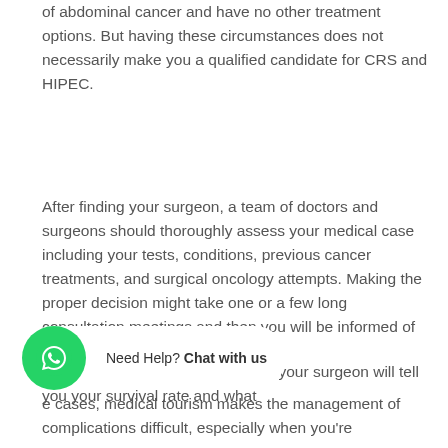of abdominal cancer and have no other treatment options. But having these circumstances does not necessarily make you a qualified candidate for CRS and HIPEC.
After finding your surgeon, a team of doctors and surgeons should thoroughly assess your medical case including your tests, conditions, previous cancer treatments, and surgical oncology attempts. Making the proper decision might take one or a few long consultation meetings and then you will be informed of the result.
If you're among high-risk patients, your surgeon will tell you your survival rate and what ... cases, medical tourism makes the management of complications difficult, especially when you're
[Figure (other): WhatsApp chat widget with green circle icon and 'Need Help? Chat with us' text]